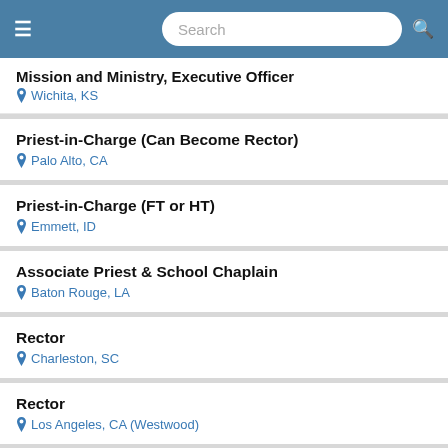Search
Mission and Ministry, Executive Officer
Wichita, KS
Priest-in-Charge (Can Become Rector)
Palo Alto, CA
Priest-in-Charge (FT or HT)
Emmett, ID
Associate Priest & School Chaplain
Baton Rouge, LA
Rector
Charleston, SC
Rector
Los Angeles, CA (Westwood)